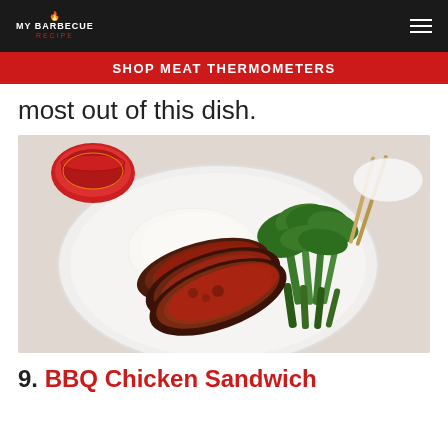MY BARBECUE RECIPE
SHOP MEAT THERMOMETERS
most out of this dish.
[Figure (photo): A white plate with sliced Chinese BBQ pork (char siu) with red glaze, white rice, and green vegetables (gai lan/Chinese broccoli). A red decorative teacup and chopsticks visible in background.]
9. BBQ Chicken Sandwich